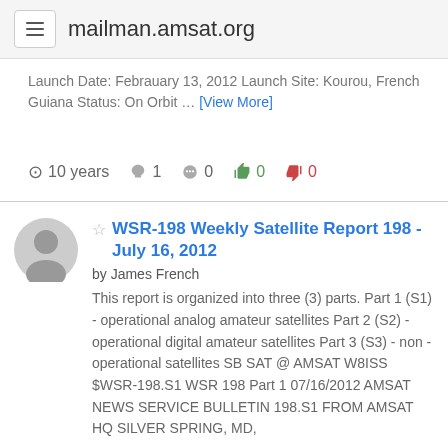mailman.amsat.org
Launch Date: Febrauary 13, 2012 Launch Site: Kourou, French Guiana Status: On Orbit … [View More]
10 years  1  0  0  0
WSR-198 Weekly Satellite Report 198 - July 16, 2012
by James French
This report is organized into three (3) parts. Part 1 (S1) - operational analog amateur satellites Part 2 (S2) - operational digital amateur satellites Part 3 (S3) - non - operational satellites SB SAT @ AMSAT W8ISS $WSR-198.S1 WSR 198 Part 1 07/16/2012 AMSAT NEWS SERVICE BULLETIN 198.S1 FROM AMSAT HQ SILVER SPRING, MD,